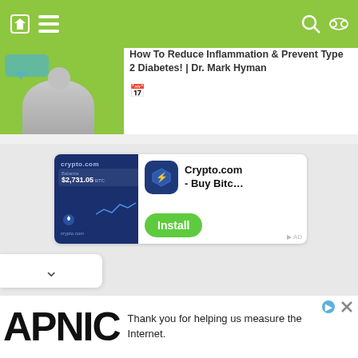How To Reduce Inflammation & Prevent Type 2 Diabetes! | Dr. Mark Hyman
[Figure (screenshot): Website screenshot showing a navigation bar with home and menu icons on a green background, a content card with a podcast/video thumbnail showing 'Prevent Type 2 Diabetes' text with a person image, and title 'How To Reduce Inflammation & Prevent Type 2 Diabetes! | Dr. Mark Hyman' with a calendar icon.]
[Figure (screenshot): Advertisement banner for Crypto.com app showing the app interface with balance '$2,731.05', the Crypto.com logo, app icon, text 'Crypto.com - Buy Bitc...' and a green 'Install' button.]
[Figure (screenshot): Bottom accordion widget with a chevron/down arrow icon on white background.]
[Figure (screenshot): APNIC advertisement banner at bottom with large 'APNIC' logo text and text 'Thank you for helping us measure the Internet.' with close and info icons.]